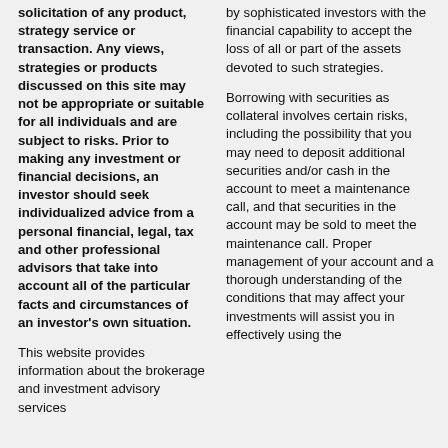solicitation of any product, strategy service or transaction. Any views, strategies or products discussed on this site may not be appropriate or suitable for all individuals and are subject to risks. Prior to making any investment or financial decisions, an investor should seek individualized advice from a personal financial, legal, tax and other professional advisors that take into account all of the particular facts and circumstances of an investor's own situation.
This website provides information about the brokerage and investment advisory services...
by sophisticated investors with the financial capability to accept the loss of all or part of the assets devoted to such strategies.
Borrowing with securities as collateral involves certain risks, including the possibility that you may need to deposit additional securities and/or cash in the account to meet a maintenance call, and that securities in the account may be sold to meet the maintenance call. Proper management of your account and a thorough understanding of the conditions that may affect your investments will assist you in effectively using the